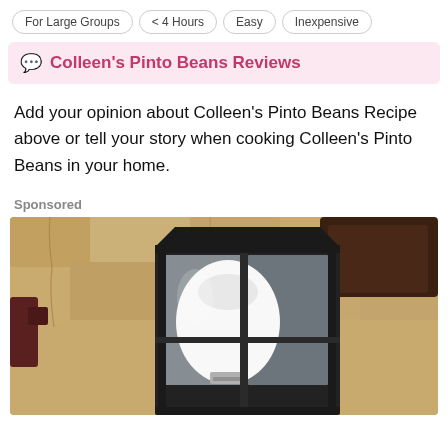For Large Groups
< 4 Hours
Easy
Inexpensive
Colleen's Pinto Beans Reviews
Add your opinion about Colleen's Pinto Beans Recipe above or tell your story when cooking Colleen's Pinto Beans in your home.
Sponsored
[Figure (photo): A black metal outdoor wall lantern with a white globe bulb, mounted on a rough textured stone or stucco wall. The lantern has glass panes and a decorative dark frame.]